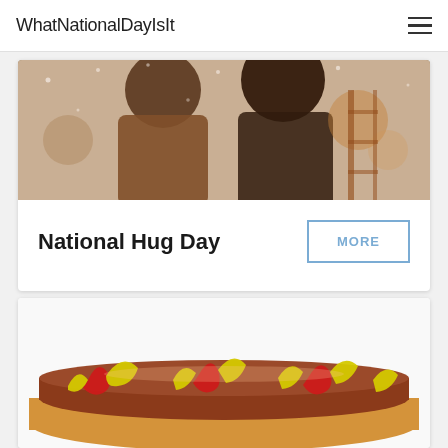WhatNationalDayIsIt
[Figure (photo): Two people embracing in winter, snowy outdoor scene with warm-toned brown jackets and bokeh background]
National Hug Day
MORE
[Figure (photo): A hot dog in a bun topped with yellow mustard and red ketchup, on a light background]